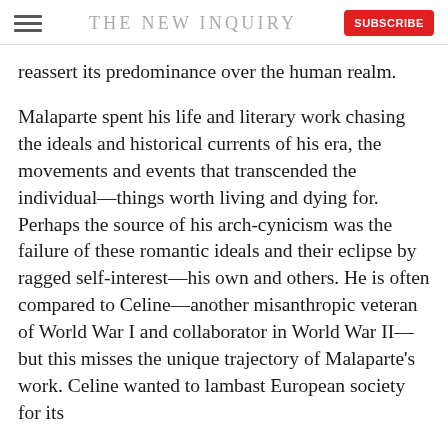THE NEW INQUIRY
reassert its predominance over the human realm.
Malaparte spent his life and literary work chasing the ideals and historical currents of his era, the movements and events that transcended the individual—things worth living and dying for. Perhaps the source of his arch-cynicism was the failure of these romantic ideals and their eclipse by ragged self-interest—his own and others. He is often compared to Celine—another misanthropic veteran of World War I and collaborator in World War II—but this misses the unique trajectory of Malaparte's work. Celine wanted to lambast European society for its hypocrisies and dehumanization, and provide...